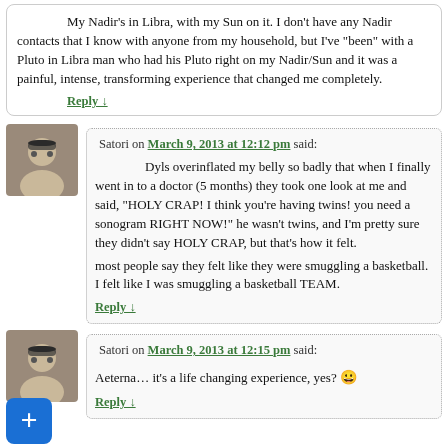My Nadir's in Libra, with my Sun on it. I don't have any Nadir contacts that I know with anyone from my household, but I've "been" with a Pluto in Libra man who had his Pluto right on my Nadir/Sun and it was a painful, intense, transforming experience that changed me completely.
Reply ↓
Satori on March 9, 2013 at 12:12 pm said:
Dyls overinflated my belly so badly that when I finally went in to a doctor (5 months) they took one look at me and said, "HOLY CRAP! I think you're having twins! you need a sonogram RIGHT NOW!" he wasn't twins, and I'm pretty sure they didn't say HOLY CRAP, but that's how it felt.

most people say they felt like they were smuggling a basketball. I felt like I was smuggling a basketball TEAM.
Reply ↓
Satori on March 9, 2013 at 12:15 pm said:
Aeterna… it's a life changing experience, yes? 😀
Reply ↓